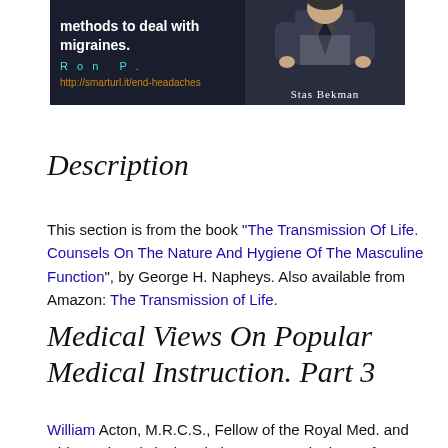[Figure (photo): Advertisement banner with dark background showing text 'methods to deal with migraines.', author name 'Ron P.' in teal, URL 'http://smarturl.it/end-headaches' in orange, and 'Stas Bekman' on the right side with a person in a suit.]
Description
This section is from the book "The Transmission Of Life. Counsels On The Nature And Hygiene Of The Masculine Function", by George H. Napheys. Also available from Amazon: The Transmission of Life.
Medical Views On Popular Medical Instruction. Part 3
William Acton, M.R.C.S., Fellow of the Royal Med. and Chir., and statistical societies, etc. etc., in the preface and introduction to his work, addressed to the profession, on the Functions and Disorders of